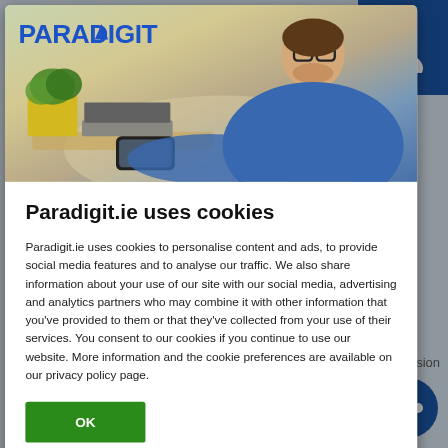[Figure (screenshot): Paradigit.ie website cookie consent modal dialog. The modal shows the Paradigit logo in blue at top left over a hero image of a smiling man in a blue shirt working on a laptop with a plant and phone visible. Below the hero image is a white content area with a bold title 'Paradigit.ie uses cookies', body text explaining cookie usage, and a green OK button. The background shows a partially visible website page.]
Paradigit.ie uses cookies
Paradigit.ie uses cookies to personalise content and ads, to provide social media features and to analyse our traffic. We also share information about your use of our site with our social media, advertising and analytics partners who may combine it with other information that you've provided to them or that they've collected from your use of their services. You consent to our cookies if you continue to use our website. More information and the cookie preferences are available on our privacy policy page.
OK
Product number
manufacturer:
22630